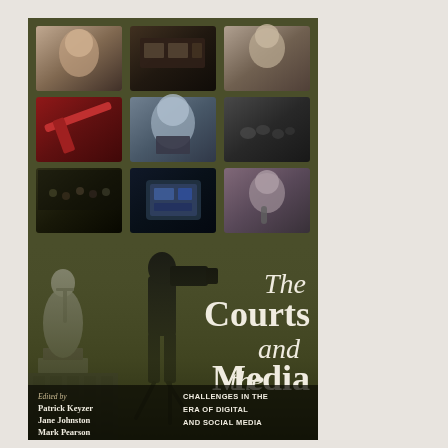[Figure (photo): Book cover for 'The Courts and the Media: Challenges in the Era of Digital and Social Media', edited by Patrick Keyzer, Jane Johnston, Mark Pearson. Cover features a 3x3 grid of TV/video thumbnails showing courtroom and media scenes at the top, overlaid on an olive/khaki colored background with a silhouette of a camera operator and a justice statue. Large white serif title text dominates the lower right portion of the cover.]